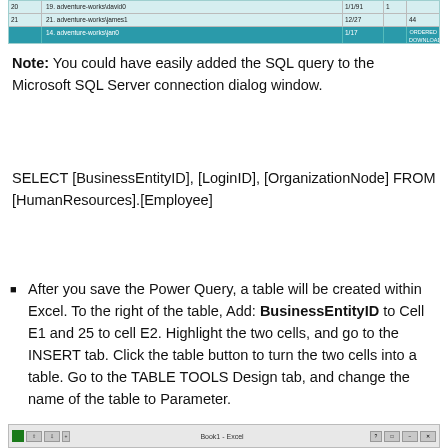[Figure (screenshot): Screenshot of a spreadsheet/table showing rows of data with teal/green header row at bottom]
Note: You could have easily added the SQL query to the Microsoft SQL Server connection dialog window.
SELECT [BusinessEntityID], [LoginID], [OrganizationNode] FROM [HumanResources].[Employee]
After you save the Power Query, a table will be created within Excel. To the right of the table, Add: BusinessEntityID to Cell E1 and 25 to cell E2. Highlight the two cells, and go to the INSERT tab. Click the table button to turn the two cells into a table. Go to the TABLE TOOLS Design tab, and change the name of the table to Parameter.
[Figure (screenshot): Screenshot of the bottom portion of an Excel window (Book1 - Excel) showing toolbar/ribbon area]